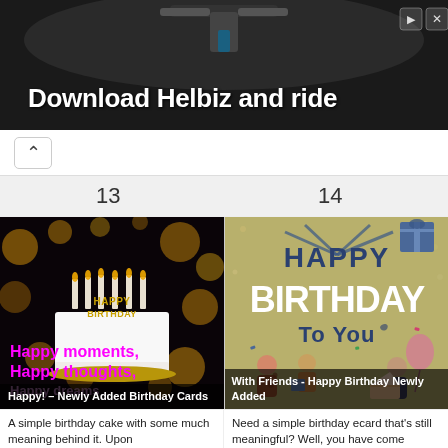[Figure (screenshot): Ad banner: dark image with scooter handlebars, text 'Download Helbiz and ride', ad icons top right]
^ (navigation back chevron)
13
14
[Figure (photo): Birthday cake with golden 'Happy Birthday' candles, bokeh lights background, pink text overlay: 'Happy moments, Happy thoughts, Happy dreams']
Happy! – Newly Added Birthday Cards
[Figure (illustration): Happy Birthday To You illustrated card with dark blue text on olive/tan background, people celebrating with gifts]
With Friends - Happy Birthday Newly Added
A simple birthday cake with some much meaning behind it. Upon
Need a simple birthday ecard that's still meaningful? Well, you have come